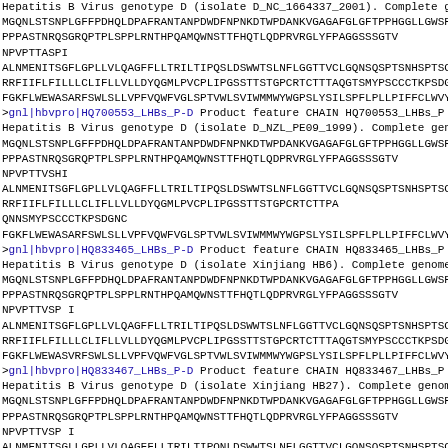Hepatitis B Virus genotype D (isolate D_NC_1664337_2001). Complete ge
MGQNLSTSNPLGFFPDHQLDPAFRANTANPDWDFNPNKDTWPDANKVGAGAFGLGFTPPHGGLLGWSPQA
PPPASTNRQSGRQPTPLSPPLRNTHPQAMQWNSTTFHQTLQDPRVRGLYFPAGGSSSGTV NPVPTTASPI
ALNMENITSGFLGPLLVLQAGFFLLTRILTI PQSLDSWWTSLNFLGGTTVCLGQNSQSPTSNHSPTSCPP
RRFIIFLFILLLCLIFLLVLLDYQGMLPVCPLIPGSSTTSTGPCRTCTTTAQGTSMYPSCCCTKPSDGNC
FGKFLWEWASARFSWLSLLVPFVQWFVGLSPTVWLSVIWMMWYWGPSLYSILSPFLPLLPIFFCLWVYI
>gnl|hbvpro|HQ700553_LHBs_P-D Product feature CHAIN HQ700553_LHBs_P
Hepatitis B Virus genotype D (isolate D_NZL_PE09_1999). Complete genom
MGQNLSTSNPLGFFPDHQLDPAFRANTANPDWDFNPNKDTWPDANKVGAGAFGLGFTPPHGGLLGWSPQA
PPPASTNRQSGRQPTPLSPPLRNTHPQAMQWNSTTFHQTLQDPRVRGLYFPAGGSSSGTV NPVPTTVSHI
ALNMENITSGFLGPLLVLQAGFFLLTRILTI PQSLDSWWTSLNFLGGTTVCLGQNSQSPTSNHSPTSCPP
RRFIIFLFILLLCLIFLLVLLDYQGMLPVCPLIPGSSTTSTGPCRTCTTPAQNNSMYPSCCCTKPSDGNC
FGKFLWEWASARFSWLSLLVPFVQWFVGLSPTVWLSVIWMMWYWGPSLYSILSPFLPLLPIFFCLWVYI
>gnl|hbvpro|HQ833465_LHBs_P-D Product feature CHAIN HQ833465_LHBs_P
Hepatitis B Virus genotype D (isolate Xinjiang HB6). Complete genome.
MGQNLSTSNPLGFFPDHQLDPAFRANTANPDWDFNPNKDTWPDANKVGAGAFGLGFTPPHGGLLGWSPQA
PPPASTNRQSGRQPTPLSPPLRNTHPQAMQWNSTTFHQTLQDPRVRGLYFPAGGSSSGTV NPVPTTVSP I
ALNMENITSGFLGPLLVLQAGFFLLTRILTI PQSLDSWWTSLNFLGGTTVCLGQNSQSPTSNHSPTSCPP
RRFIIFLFILLLCLIFLLVLLDYQGMLPVCPLIPGSSTTSTGPCRTCTTTAQGTSMYPSCCCTKPSDGNC
FGKFLWEWASVRFSWLSLLVPFVQWFVGLSPTVWLSVIWMMWYWGPSLYSILSPFLPLLPIFFCLWVYI
>gnl|hbvpro|HQ833467_LHBs_P-D Product feature CHAIN HQ833467_LHBs_P
Hepatitis B Virus genotype D (isolate Xinjiang HB27). Complete genome.
MGQNLSTSNPLGFFPDHQLDPAFRANTANPDWDFNPNKDTWPDANKVGAGAFGLGFTPPHGGLLGWSPQA
PPPASTNRQSGRQPTPLSPPLRNTHPQAMQWNSTTFHQTLQDPRVRGLYFPAGGSSSGTV NPVPTTVSP I
ALNMENITSGLLGPLLVLQAGFFLLTRILTI PQNLDSWWTSLNFLGGTTVCLGQNSQSPTSNHSPTSCPP
RRFIIFLFILLLCLIFLLVLLDYQGMLPVCPLIPGSSTTSTGPCRTCTTPAQGTSMYPSCCCXKPSDGNC
FGKFLWEWASARFSWLSLLVPFVQWFVGLSPTVWLSVIWMMWYWGPSLYSILSPFLPLLPIFXCLWVYI
>gnl|hbvpro|HQ833468_LHBs_P-D Product feature CHAIN HQ833468_LHBs_P
Hepatitis B Virus genotype D (isolate Xinjiang HB52). Complete genome.
MGQNLSTSNPLGFFPDHQLDPAFRANTANPDWDFNPNKDTWPDANKVGAGAFGLGFTPPHGGLLGWSPQA